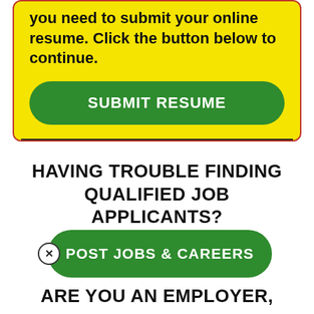you need to submit your online resume. Click the button below to continue.
[Figure (other): Green rounded button labeled SUBMIT RESUME]
[Figure (other): Horizontal dark divider line]
HAVING TROUBLE FINDING QUALIFIED JOB APPLICANTS?
[Figure (other): Green rounded button labeled POST JOBS & CAREERS with a close (X) icon on the left]
ARE YOU AN EMPLOYER,